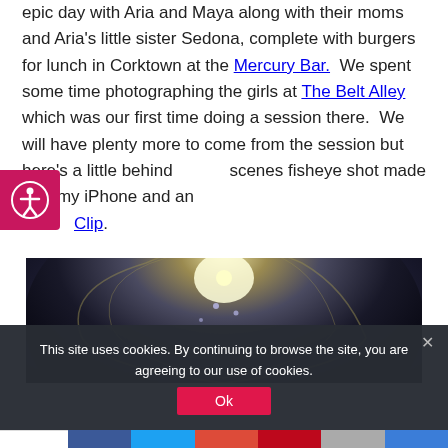epic day with Aria and Maya along with their moms and Aria's little sister Sedona, complete with burgers for lunch in Corktown at the Mercury Bar.  We spent some time photographing the girls at The Belt Alley which was our first time doing a session there.  We will have plenty more to come from the session but here's a little behind scenes fisheye shot made with my iPhone and an Clip.
[Figure (photo): Fisheye photo of a building taken at The Belt Alley, dark with a bright light source at center top, showing curved architecture in a circular distorted view]
This site uses cookies. By continuing to browse the site, you are agreeing to our use of cookies.